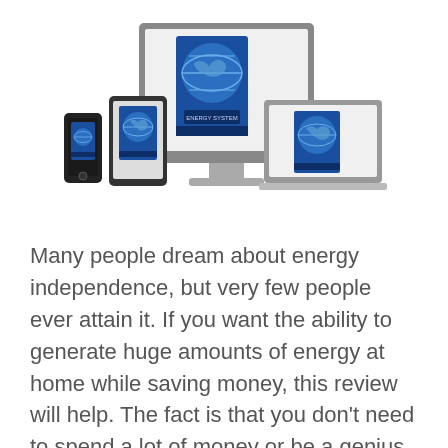[Figure (illustration): Product mockup showing a digital guide displayed on a desktop monitor, laptop, tablet, and smartphone. Each device screen shows a blue book cover with a world map graphic and text.]
Many people dream about energy independence, but very few people ever attain it. If you want the ability to generate huge amounts of energy at home while saving money, this review will help. The fact is that you don't need to spend a lot of money or be a genius to do this. In this […]